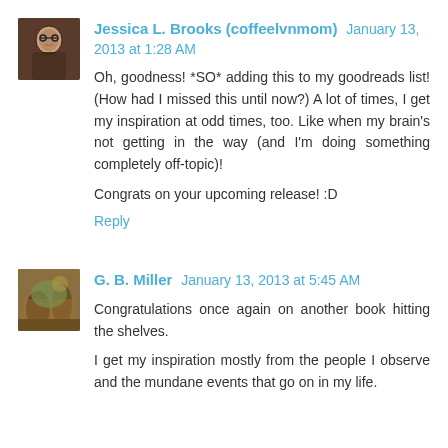[Figure (photo): Avatar photo of Jessica L. Brooks (coffeelvnmom) - woman with glasses]
Jessica L. Brooks (coffeelvnmom) January 13, 2013 at 1:28 AM
Oh, goodness! *SO* adding this to my goodreads list! (How had I missed this until now?) A lot of times, I get my inspiration at odd times, too. Like when my brain's not getting in the way (and I'm doing something completely off-topic)!
Congrats on your upcoming release! :D
Reply
[Figure (photo): Avatar photo of G. B. Miller - outdoor nature scene]
G. B. Miller January 13, 2013 at 5:45 AM
Congratulations once again on another book hitting the shelves.
I get my inspiration mostly from the people I observe and the mundane events that go on in my life.